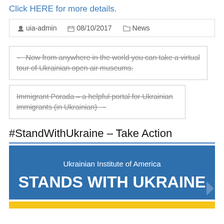Click HERE for more details.
| uia-admin | 08/10/2017 | News |
| --- | --- | --- |
← Now from anywhere in the world you can take a virtual tour of Ukrainian open air museums.
Immigrant Porada – a helpful portal for Ukrainian immigrants (in Ukrainian) →
#StandWithUkraine – Take Action
[Figure (illustration): Banner with blue background. Text: 'Ukrainian Institute of America' and 'STANDS WITH UKRAINE'. Below is a yellow stripe.]